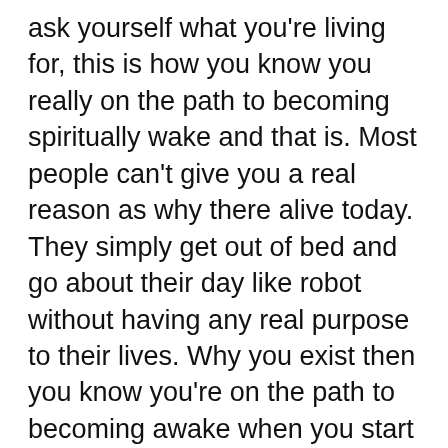ask yourself what you're living for, this is how you know you really on the path to becoming spiritually wake and that is. Most people can't give you a real reason as why there alive today. They simply get out of bed and go about their day like robot without having any real purpose to their lives. Why you exist then you know you're on the path to becoming awake when you start to ask yourself real questions as to why you're here. Believe me when I tell you life is 10x better when your awake and opened to this reality because you can start to see who in your life is bringing you down and who is bringing you up. When becoming awake starts to improve your life, naturally you'll start to spend more and more time with people who bring you up over people who